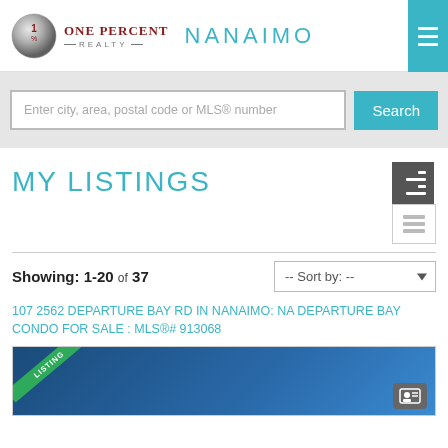[Figure (logo): One Percent Realty logo with metallic ball and text, alongside NANAIMO heading and hamburger menu button]
[Figure (screenshot): Search bar with placeholder text and teal Search button on grey background]
MY LISTINGS
Showing: 1-20 of 37
107 2562 DEPARTURE BAY RD IN NANAIMO: NA DEPARTURE BAY CONDO FOR SALE : MLS®# 913068
[Figure (photo): Property listing image with green LISTING ribbon badge and contact icon button]